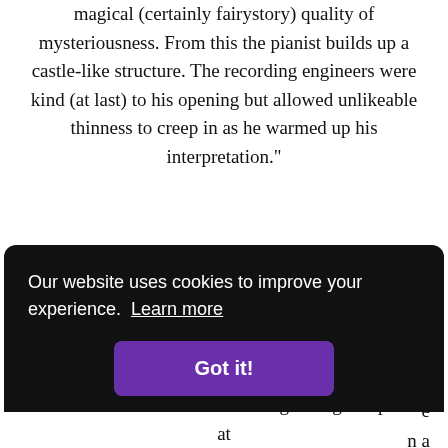magical (certainly fairystory) quality of mysteriousness. From this the pianist builds up a castle-like structure. The recording engineers were kind (at last) to his opening but allowed unlikeable thinness to creep in as he warmed up his interpretation."
H.F. The Gramophone, June 1951 (Reviewing LXT2532, excerpt concerning Sonata No. 21, "Waldstein")
Our website uses cookies to improve your experience. Learn more
Got it!
series - and their often less-than-glowing reception at